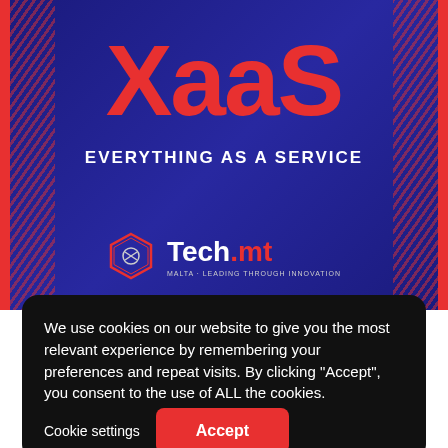[Figure (logo): XaaS - Everything as a Service promotional banner on dark blue background with red diagonal stripe decorations on left and right sides. Large red XaaS text at top, white subtitle EVERYTHING AS A SERVICE, and Tech.mt logo with hexagon icon at bottom.]
We use cookies on our website to give you the most relevant experience by remembering your preferences and repeat visits. By clicking “Accept”, you consent to the use of ALL the cookies.
Cookie settings
Accept
and technologies that vendors now deliver to users as